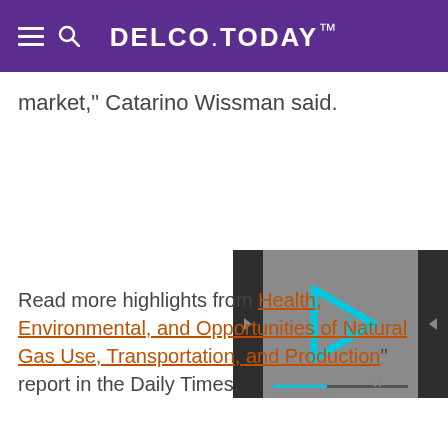DELCO.TODAY
market,” Catarino Wissman said.
[Figure (screenshot): Video player thumbnail with a cyan/teal play button icon (triangular arrow with letter i) on a dark gray/black background, with playback controls visible.]
Read more highlights from “Health, Environmental, and Opportunities of Natural Gas Use, Transportation, and Production” report in the Daily Times.